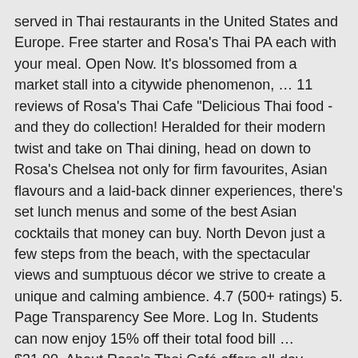served in Thai restaurants in the United States and Europe. Free starter and Rosa's Thai PA each with your meal. Open Now. It's blossomed from a market stall into a citywide phenomenon, … 11 reviews of Rosa's Thai Cafe "Delicious Thai food - and they do collection! Heralded for their modern twist and take on Thai dining, head on down to Rosa's Chelsea not only for firm favourites, Asian flavours and a laid-back dinner experiences, there's set lunch menus and some of the best Asian cocktails that money can buy. North Devon just a few steps from the beach, with the spectacular views and sumptuous décor we strive to create a unique and calming ambience. 4.7 (500+ ratings) 5. Page Transparency See More. Log In. Students can now enjoy 15% off their total food bill … $31.90. About Rosa's Thai Café offers all-day hearty helpings of homemade Thai cuisine with a modern twist, courtesy of husband and wife team Alex and Saiphin Moore. Thai Restaurant . 1,115 check-ins. A great branch of Rosa's." 2. Opens at 12:00 PM. view our menu. 4. Menu; Log in; £0.00; Home; Stratford; Rosa's Thai Cafe; Rosa's Thai Cafe - Stratford. less details 13 Fajita with … £15.00. Thai Restaurant in